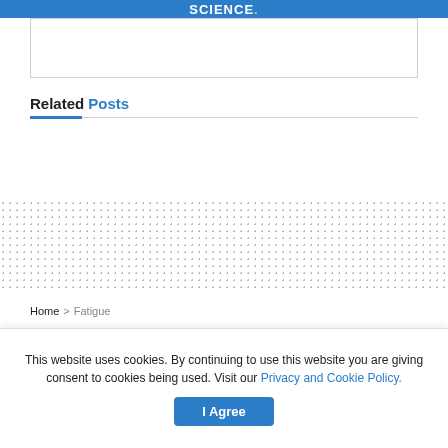SCIENCE
Related Posts
Home > Fatigue
Atezolizumab/cabozantinib combo clinically active in
This website uses cookies. By continuing to use this website you are giving consent to cookies being used. Visit our Privacy and Cookie Policy.
I Agree